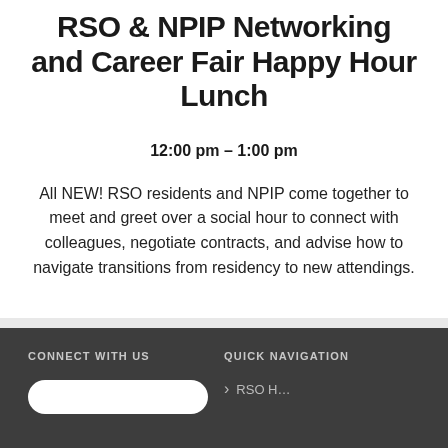RSO & NPIP Networking and Career Fair Happy Hour Lunch
12:00 pm – 1:00 pm
All NEW! RSO residents and NPIP come together to meet and greet over a social hour to connect with colleagues, negotiate contracts, and advise how to navigate transitions from residency to new attendings.
CONNECT WITH US | QUICK NAVIGATION | › RSO H…